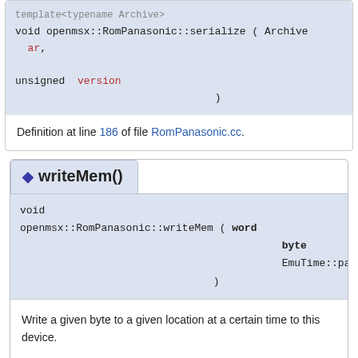template<typename Archive>
void openmsx::RomPanasonic::serialize ( Archive &  ar,
  unsigned  version
)
Definition at line 186 of file RomPanasonic.cc.
writeMem()
void
openmsx::RomPanasonic::writeMem ( word  address,
  byte  value,
  EmuTime::param  time
)
Write a given byte to a given location at a certain time to this device.
The default implementation ignores the write (does nothing).